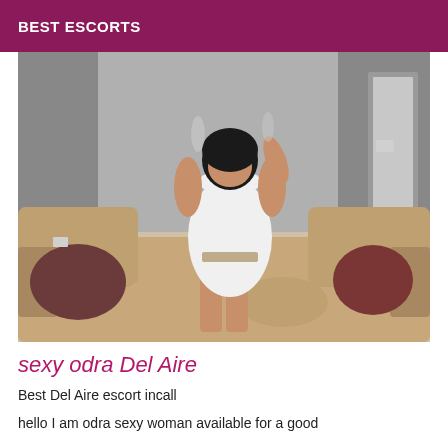BEST ESCORTS
[Figure (photo): Woman in white dress standing on a sofa in an indoor setting]
sexy odra Del Aire
Best Del Aire escort incall
hello I am odra sexy woman available for a good